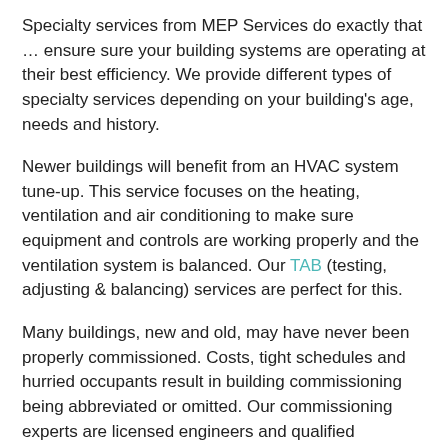Specialty services from MEP Services do exactly that … ensure sure your building systems are operating at their best efficiency. We provide different types of specialty services depending on your building's age, needs and history.
Newer buildings will benefit from an HVAC system tune-up. This service focuses on the heating, ventilation and air conditioning to make sure equipment and controls are working properly and the ventilation system is balanced. Our TAB (testing, adjusting & balancing) services are perfect for this.
Many buildings, new and old, may have never been properly commissioned. Costs, tight schedules and hurried occupants result in building commissioning being abbreviated or omitted. Our commissioning experts are licensed engineers and qualified specialists who conduct new and existing building commissioning to national standards.
Building controls can manage automation (turning lights on/off and thermostats up/down) and they can manage energy consumption (controlling HVAC and systems to minimize energy usage). Just as HVAC systems need regular